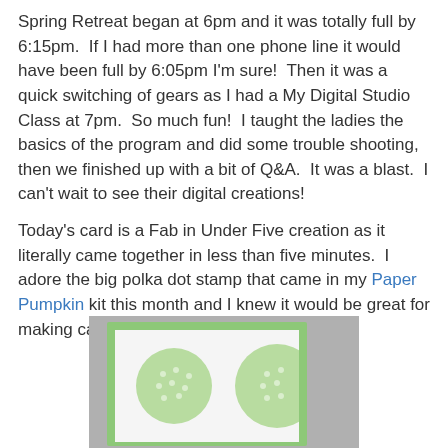Spring Retreat began at 6pm and it was totally full by 6:15pm. If I had more than one phone line it would have been full by 6:05pm I'm sure! Then it was a quick switching of gears as I had a My Digital Studio Class at 7pm. So much fun! I taught the ladies the basics of the program and did some trouble shooting, then we finished up with a bit of Q&A. It was a blast. I can't wait to see their digital creations!
Today's card is a Fab in Under Five creation as it literally came together in less than five minutes. I adore the big polka dot stamp that came in my Paper Pumpkin kit this month and I knew it would be great for making cards in a flash.
[Figure (photo): A handmade greeting card with a light green border, white interior, and two large light green polka dot circles stamped on white cardstock, photographed at an angle on a gray background.]